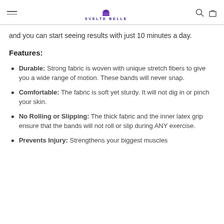SVELTE BELLE
and you can start seeing results with just 10 minutes a day.
Features:
Durable: Strong fabric is woven with unique stretch fibers to give you a wide range of motion. These bands will never snap.
Comfortable: The fabric is soft yet sturdy. It will not dig in or pinch your skin.
No Rolling or Slipping: The thick fabric and the inner latex grip ensure that the bands will not roll or slip during ANY exercise.
Prevents Injury: Strengthens your biggest muscles